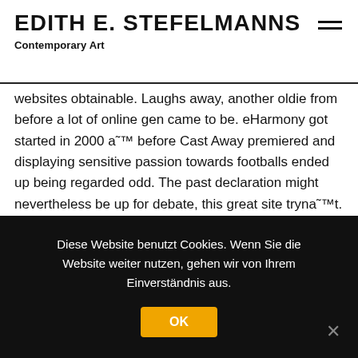EDITH E. STEFELMANNS
Contemporary Art
websites obtainable. Laughs away, another oldie from before a lot of online gen came to be. eHarmony got started in 2000 a˜™ before Cast Away premiered and displaying sensitive passion towards footballs ended up being regarded odd. The past declaration might nevertheless be up for debate, this great site tryna˜™t. The internet questionnaire style getting a percentage match ended up being the run brainchild of Dr. Neil Clark Warren, a clinical psychologist because president with this website.
How eHarmony discovered you your own soulmate had been through a number of inquiries that you responded. The average person that a greater fit in portion to your survey had been an
Diese Website benutzt Cookies. Wenn Sie die Website weiter nutzen, gehen wir von Ihrem Einverständnis aus.